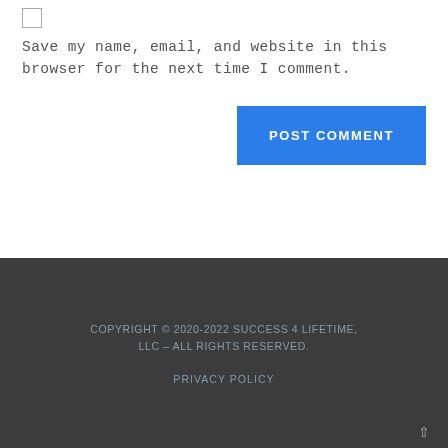Save my name, email, and website in this browser for the next time I comment.
POST COMMENT
COPYRIGHT © 2020-2022 SUCCESS 4 LIFETIME, LLC – ALL RIGHTS RESERVED.

PRIVACY POLICY